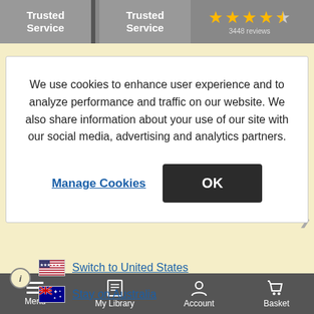[Figure (screenshot): Top bar with two 'Trusted Service' badges in grey and star rating (4.5 stars) on the right]
We use cookies to enhance user experience and to analyze performance and traffic on our website. We also share information about your use of our site with our social media, advertising and analytics partners.
Manage Cookies
OK
[Figure (screenshot): Location switcher with US flag link 'Switch to United States' and Australian flag link 'Stay on Australia']
Menu  My Library  Account  Basket